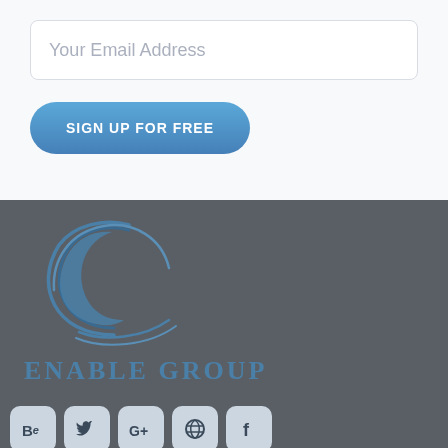Your Email Address
SIGN UP FOR FREE
[Figure (logo): Enable Group logo — circular crescent/spiral arc design in blue tones with text ENABLE GROUP below]
[Figure (infographic): Social media icons row: Behance, Twitter, Google+, Dribbble, Facebook — rounded square icons in light blue-grey]